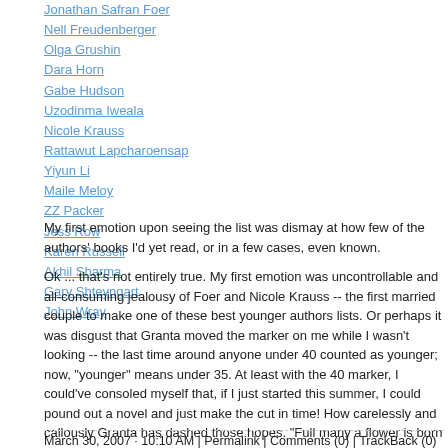Jonathan Safran Foer
Nell Freudenberger
Olga Grushin
Dara Horn
Gabe Hudson
Uzodinma Iweala
Nicole Krauss
Rattawut Lapcharoensap
Yiyun Li
Maile Meloy
ZZ Packer
Jess Row
Karen Russell
Akhil Sharma
Gary Shteyngart
John Wray
My first emotion upon seeing the list was dismay at how few of the authors' books I'd yet read, or in a few cases, even known.
Ok ... that's not entirely true. My first emotion was uncontrollable and all-consuming jealousy of Foer and Nicole Krauss -- the first married couple to make one of these best younger authors lists. Or perhaps it was disgust that Granta moved the marker on me while I wasn't looking -- the last time around anyone under 40 counted as younger; now, "younger" means under 35. At least with the 40 marker, I could've consoled myself that, if I just started this summer, I could pound out a novel and just make the cut in time! How carelessly and callously Granta has dashed those hopes. "Full many a flower is born to blush unseen,/ And waste its sweetness on the desert air."
Some will, like the Guardian, note that "seven on this year's list ... have yet to publish a novel." Rather than criticizing them for that, I wish that Granta would instead just look at best young fiction writers under 35. Why marginalize excellent writers of short fiction? To take one example from the list itself, Lorrie Moore would've been a must-have, even had she never published Anagrams or Who Will Run the Frog Hospital?
[Just to have some measure of Granta's prognosticatory ability, take a gander at the previous list from 1996.]
March 30, 2007 · 10:10 AM | Permalink | Comments (0) | TrackBack (0)